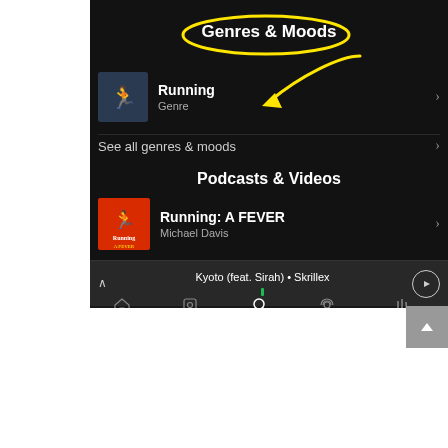[Figure (screenshot): Spotify app screenshot showing 'Genres & Moods' section with a yellow oval annotation around the title, a yellow arrow pointing to 'Running' genre item, 'Podcasts & Videos' section with 'Running: A FEVER' by Michael Davis, now playing bar showing 'Kyoto (feat. Sirah) • Skrillex', and bottom navigation bar with Home, Browse, Search (active), Radio, Your Library tabs.]